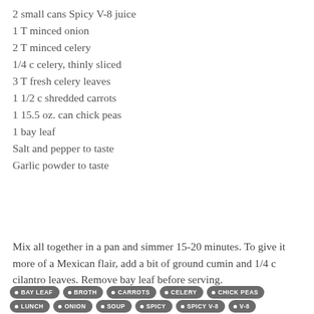2 small cans Spicy V-8 juice
1 T minced onion
2 T minced celery
1/4 c celery, thinly sliced
3 T fresh celery leaves
1 1/2 c shredded carrots
1 15.5 oz. can chick peas
1 bay leaf
Salt and pepper to taste
Garlic powder to taste
Mix all together in a pan and simmer 15-20 minutes. To give it more of a Mexican flair, add a bit of ground cumin and 1/4 c cilantro leaves. Remove bay leaf before serving.
BAY LEAF • BROTH • CARROTS • CELERY • CHICK PEAS • LUNCH • ONION • SOUP • SPICY • SPICY V-8 • V-8